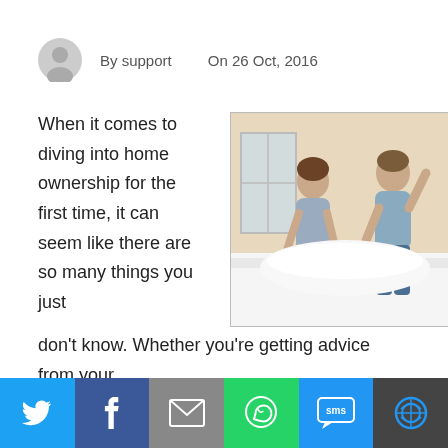By support    On 26 Oct, 2016
When it comes to diving into home ownership for the first time, it can seem like there are so many things you just don't know. Whether you're getting advice from your
[Figure (photo): A smiling couple making a bed together in a bright room, both leaning over white bedding]
[Figure (infographic): Social share bar with icons for Twitter, Facebook, Email, WhatsApp, SMS, and another share option]